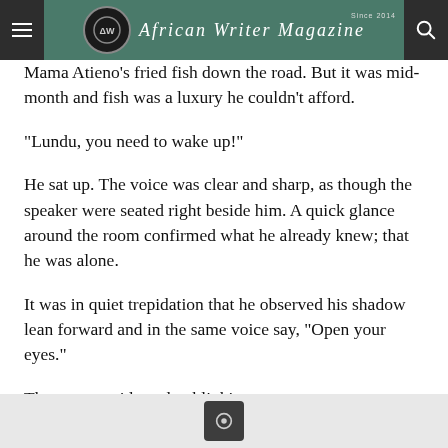African Writer Magazine — Since 2014
Mama Atieno's fried fish down the road. But it was mid-month and fish was a luxury he couldn't afford.
“Lundu, you need to wake up!”
He sat up. The voice was clear and sharp, as though the speaker were seated right beside him. A quick glance around the room confirmed what he already knew; that he was alone.
It was in quiet trepidation that he observed his shadow lean forward and in the same voice say, “Open your eyes.”
They were, wide and unblinking.